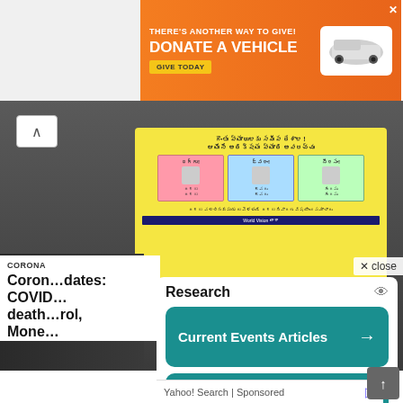[Figure (other): Orange advertisement banner: THERE'S ANOTHER WAY TO GIVE! DONATE A VEHICLE with GIVE TODAY button and car image]
[Figure (photo): Photo of people in front of a health awareness poster in Telugu language, one person wearing PPE/mask]
CORONA
Coron... dates: COVID... death... rol, Mone...
Research
Current Events Articles →
Best Weather Alert Radios →
Yahoo! Search | Sponsored